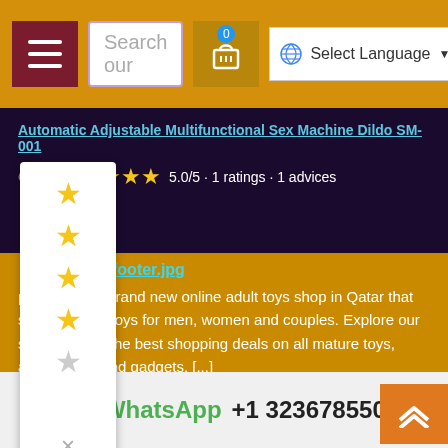[Figure (screenshot): Website header navigation bar with menu button, search box, cart icon with badge showing 0, and Google language selector on orange background]
Automatic Adjustable Multifunctional Sex Machine Dildo SM-001
5.0/5 · 1 ratings · 1 advices
[Figure (infographic): Rating popup showing 5 star ratings vertically with a close X button]
footer.jpg
pleasure is a brand new online adult toys shop in Qatar that sells ality sex toys for men, women and couples. Explore our store and get the best shopping deals on all mature toys, accessories and gadgets. [...]
Email: sales@qatarpleasure.biz
Address: Ahmed Bin Mohammed Bin Thani Street, PO Box: 31377
WhatsApp +1 3236785503